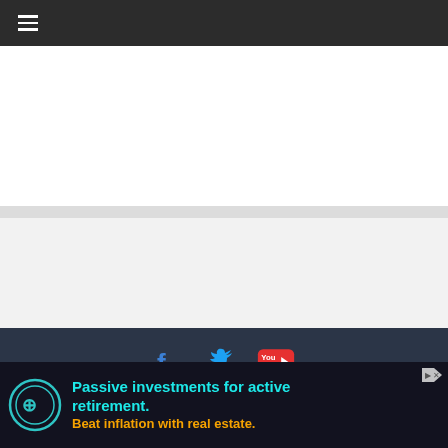≡ (hamburger menu navigation bar)
[Figure (screenshot): White content area section 1 (empty)]
[Figure (screenshot): Light gray separator band]
[Figure (screenshot): Light gray content area section 2 (empty)]
Copyright © 2022 9jafoods. All rights reserved.
Theme: ColorMag by ThemeGrill. Powered by WordPress.
[Figure (infographic): Advertisement banner: Passive investments for active retirement. Beat inflation with real estate. (with Hedgehog logo)]